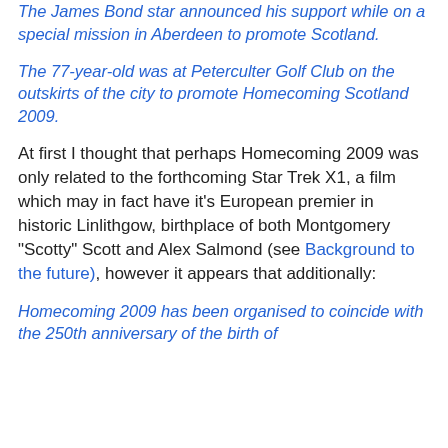The James Bond star announced his support while on a special mission in Aberdeen to promote Scotland.
The 77-year-old was at Peterculter Golf Club on the outskirts of the city to promote Homecoming Scotland 2009.
At first I thought that perhaps Homecoming 2009 was only related to the forthcoming Star Trek X1, a film which may in fact have it's European premier in historic Linlithgow, birthplace of both Montgomery "Scotty" Scott and Alex Salmond (see Background to the future), however it appears that additionally:
Homecoming 2009 has been organised to coincide with the 250th anniversary of the birth of...